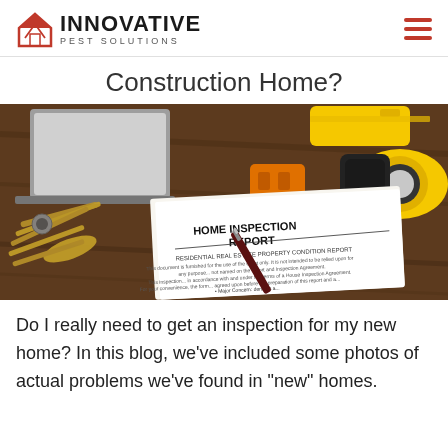INNOVATIVE PEST SOLUTIONS
Construction Home?
[Figure (photo): Home inspection report document surrounded by house keys, a yellow flashlight, tape measure, and orange electrical outlet on a wooden table, with a pen resting on the report.]
Do I really need to get an inspection for my new home? In this blog, we've included some photos of actual problems we've found in "new" homes.